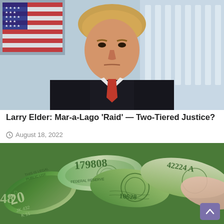[Figure (photo): Portrait photo of a man in a dark suit with red tie, posed in front of an American flag on the left and white building columns on the right, with blue-toned background]
Larry Elder: Mar-a-Lago ‘Raid’ — Two-Tiered Justice?
○ August 18, 2022
[Figure (photo): Photo of rolled-up US dollar bills (20 dollar bills and others) spread out, showing serial numbers and text including JK432, K11, 179808, 10628, 42224A]